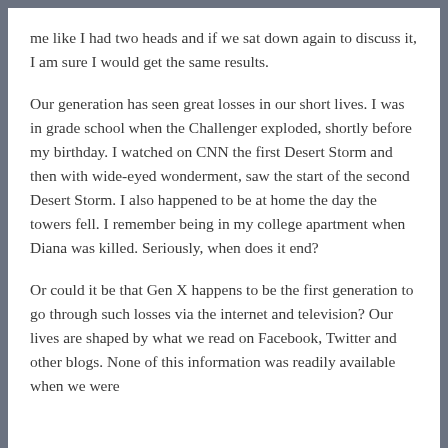me like I had two heads and if we sat down again to discuss it, I am sure I would get the same results.
Our generation has seen great losses in our short lives. I was in grade school when the Challenger exploded, shortly before my birthday. I watched on CNN the first Desert Storm and then with wide-eyed wonderment, saw the start of the second Desert Storm. I also happened to be at home the day the towers fell. I remember being in my college apartment when Diana was killed. Seriously, when does it end?
Or could it be that Gen X happens to be the first generation to go through such losses via the internet and television? Our lives are shaped by what we read on Facebook, Twitter and other blogs. None of this information was readily available when we were